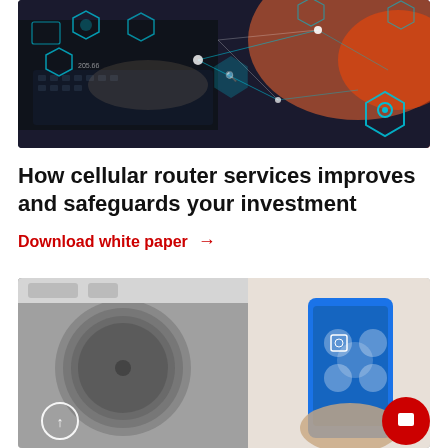[Figure (photo): Technology/IoT themed photo showing hands on a laptop with digital network hexagon icons and connectivity graphics overlaid, with orange/red glow lighting]
How cellular router services improves and safeguards your investment
Download white paper →
[Figure (photo): Photo of a washing machine with a person holding a smartphone showing a connected appliance app interface, with a red chat bubble button overlay in the bottom right corner]